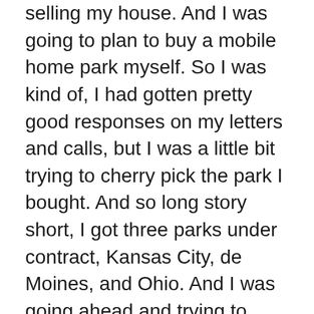selling my house. And I was going to plan to buy a mobile home park myself. So I was kind of, I had gotten pretty good responses on my letters and calls, but I was a little bit trying to cherry pick the park I bought. And so long story short, I got three parks under contract, Kansas City, de Moines, and Ohio. And I was going ahead and trying to close them all myself. I was doing due diligence myself. I flew out to Ohio, then went to Iowa. I've been to Kansas City. And so I was trying to do this all myself with no experience, I had what I thought was the funds to close it, close these deals. But as I, you know, down the road learned it's not just about having the money, you know, there's so much more involved in which I think we'll get into, but yeah, so my plan was to buy these all on my own. And then that kind of changed over time. As I realized that, I probably wasn't going to close any of